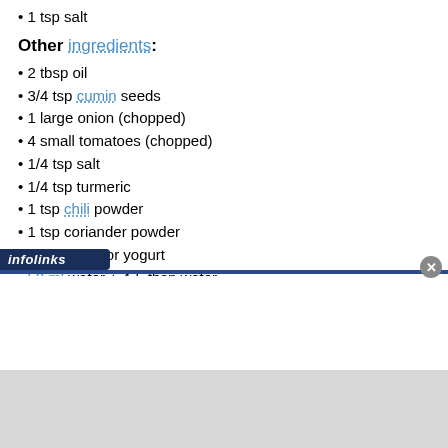1 tsp salt
Other ingredients:
2 tbsp oil
3/4 tsp cumin seeds
1 large onion (chopped)
4 small tomatoes (chopped)
1/4 tsp salt
1/4 tsp turmeric
1 tsp chili powder
1 tsp coriander powder
2 tbsp curd or yogurt
50 ml water + 4-5 tbsp water
1/4 tsp pepper powder
1/2 tsp Garam masala
1 tsp dry fenugreek leaves (roasted and powdered)
3 green chili (chopped)
1 tbsp ginger slices
1 tbsp fresh cream